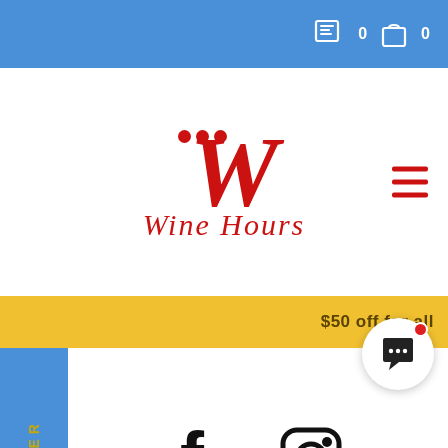0  0
[Figure (logo): Wine Hours logo with red stylized W and three red dots, cursive Wine Hours text]
$50 off for all
FILTER
[Figure (illustration): Facebook and Instagram social media icons]
ne Hours
18 Boon Lay Way, Tradehub 21
Singapore 609966
Business Hours
Monday-Friday: 9am to 5pm
WINE SHOP